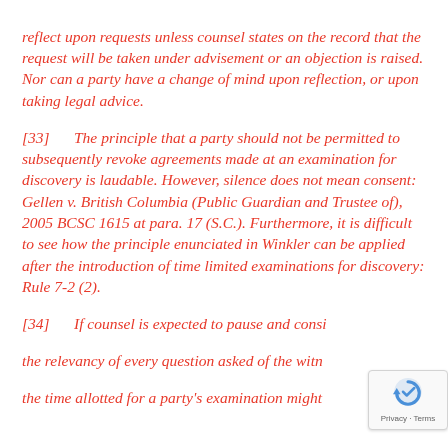reflect upon requests unless counsel states on the record that the request will be taken under advisement or an objection is raised. Nor can a party have a change of mind upon reflection, or upon taking legal advice.
[33]      The principle that a party should not be permitted to subsequently revoke agreements made at an examination for discovery is laudable. However, silence does not mean consent: Gellen v. British Columbia (Public Guardian and Trustee of), 2005 BCSC 1615 at para. 17 (S.C.). Furthermore, it is difficult to see how the principle enunciated in Winkler can be applied after the introduction of time limited examinations for discovery: Rule 7-2 (2).
[34]      If counsel is expected to pause and consider the relevancy of every question asked of the witness, the time allotted for a party's examination might well...